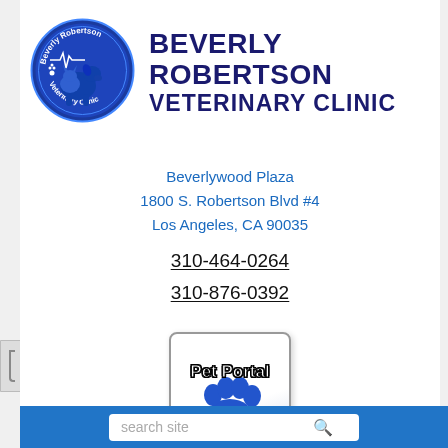[Figure (logo): Beverly Robertson Veterinary Clinic circular logo with blue background, showing a dog and cat silhouette, heartbeat line, and paw prints with text 'Beverly Robertson' at top and 'Veterinary Clinic' at bottom]
BEVERLY ROBERTSON VETERINARY CLINIC
Beverlywood Plaza
1800 S. Robertson Blvd #4
Los Angeles, CA 90035
310-464-0264
310-876-0392
[Figure (illustration): Pet Portal button with blue paw print icon and text 'Pet Portal' in bold white outlined letters]
search site